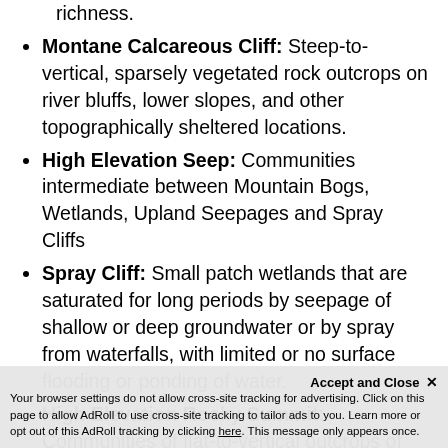richness.
Montane Calcareous Cliff: Steep-to-vertical, sparsely vegetated rock outcrops on river bluffs, lower slopes, and other topographically sheltered locations.
High Elevation Seep: Communities intermediate between Mountain Bogs, Wetlands, Upland Seepages and Spray Cliffs
Spray Cliff: Small patch wetlands that are saturated for long periods by seepage of shallow or deep groundwater or by spray from waterfalls, with limited or no surface flooding or ponding of water.
High Elevation Rocky Summit: Communities of flat-to-vertical outcrops of fractured rock on ridge tops, upper-to-mid slopes, or othe… elevations.
Your browser settings do not allow cross-site tracking for advertising. Click on this page to allow AdRoll to use cross-site tracking to tailor ads to you. Learn more or opt out of this AdRoll tracking by clicking here. This message only appears once.